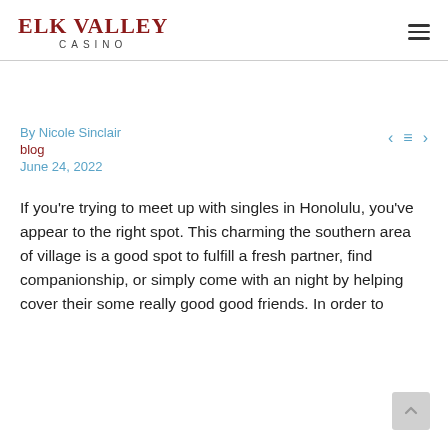ELK VALLEY CASINO
By Nicole Sinclair
blog
June 24, 2022
If you're trying to meet up with singles in Honolulu, you've appear to the right spot. This charming the southern area of village is a good spot to fulfill a fresh partner, find companionship, or simply come with an night by helping cover their some really good good friends. In order to